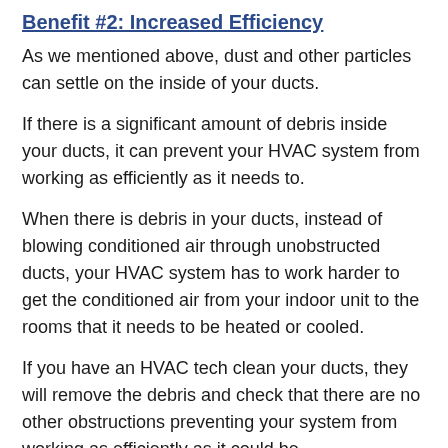Benefit #2: Increased Efficiency
As we mentioned above, dust and other particles can settle on the inside of your ducts.
If there is a significant amount of debris inside your ducts, it can prevent your HVAC system from working as efficiently as it needs to.
When there is debris in your ducts, instead of blowing conditioned air through unobstructed ducts, your HVAC system has to work harder to get the conditioned air from your indoor unit to the rooms that it needs to be heated or cooled.
If you have an HVAC tech clean your ducts, they will remove the debris and check that there are no other obstructions preventing your system from working as efficiently as it could be.
Cleaning your ducts will allow your system to work more efficiently, which can reduce the amount of wear and tear on